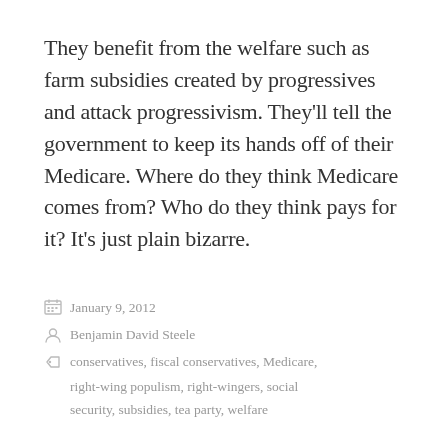They benefit from the welfare such as farm subsidies created by progressives and attack progressivism. They'll tell the government to keep its hands off of their Medicare. Where do they think Medicare comes from? Who do they think pays for it? It's just plain bizarre.
January 9, 2012
Benjamin David Steele
conservatives, fiscal conservatives, Medicare, right-wing populism, right-wingers, social security, subsidies, tea party, welfare